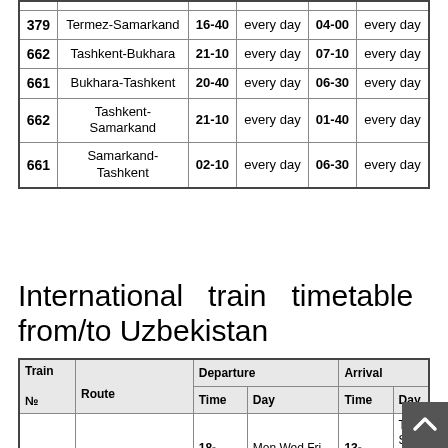| Train No | Route | Departure Time | Departure Day | Arrival Time | Arrival Day |
| --- | --- | --- | --- | --- | --- |
| 379 | Termez-Samarkand | 16-40 | every day | 04-00 | every day |
| 662 | Tashkent-Bukhara | 21-10 | every day | 07-10 | every day |
| 661 | Bukhara-Tashkent | 20-40 | every day | 06-30 | every day |
| 662 | Tashkent-Samarkand | 21-10 | every day | 01-40 | every day |
| 661 | Samarkand-Tashkent | 02-10 | every day | 06-30 | every day |
International train timetable from/to Uzbekistan
| Train № | Route | Departure Time | Departure Day | Arrival Time | Arrival Day |
| --- | --- | --- | --- | --- | --- |
| 5 | Tashkent-Moscow | 18-50 | Mon Wed Fri Sat Sun | 13-55 | Thu Sat Mon Tue Wed |